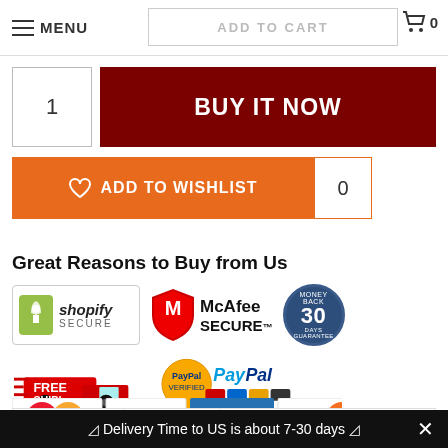MENU | ADD TO CART | 0
1
BUY IT NOW
ADD TO WISHLIST 0
Great Reasons to Buy from Us
[Figure (logo): Trust badges row 1: Shopify Secure, McAfee Secure, 30-Day Money Back Guarantee]
[Figure (logo): Trust badges row 2: Free Shipping truck logo, PayPal Verified with card icons]
[Figure (logo): Payment methods: MasterCard, Visa, American Express, Discover]
Description | Shipping | F.A.Q
⬡ Delivery Time to US is about 7-30 days ⬡ ✕